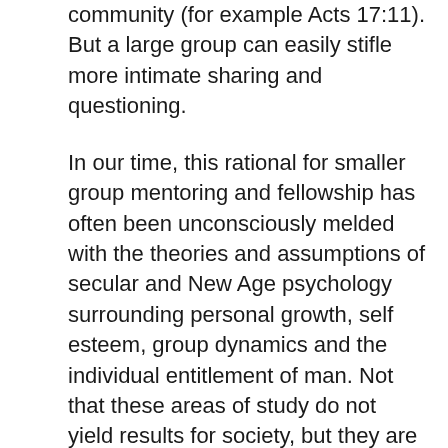community (for example Acts 17:11). But a large group can easily stifle more intimate sharing and questioning.
In our time, this rational for smaller group mentoring and fellowship has often been unconsciously melded with the theories and assumptions of secular and New Age psychology surrounding personal growth, self esteem, group dynamics and the individual entitlement of man. Not that these areas of study do not yield results for society, but they are frequently not based upon biblical principles and make very different assumptions about the status of man in creation. They are, at their root, completely at odds with Biblical values based upon the absolute sovereignty of God.